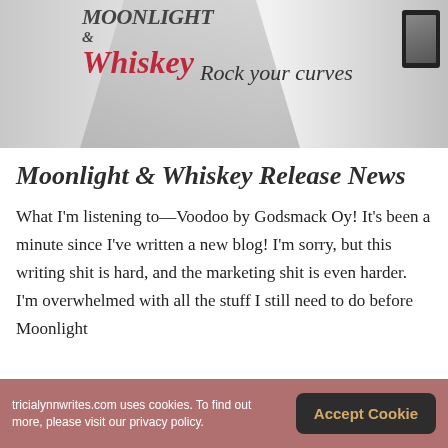[Figure (photo): Banner image for 'Moonlight & Whiskey' book, featuring a woman in black and white, with the book title in stylized script (red 'Whiskey'), tagline 'Rock your curves', and a tablet/e-reader device on the right.]
Moonlight & Whiskey Release News
What I'm listening to––Voodoo by Godsmack Oy! It's been a minute since I've written a new blog! I'm sorry, but this writing shit is hard, and the marketing shit is even harder. I'm overwhelmed with all the stuff I still need to do before Moonlight
tricialynnwrites.com uses cookies. To find out more, please visit our privacy policy.